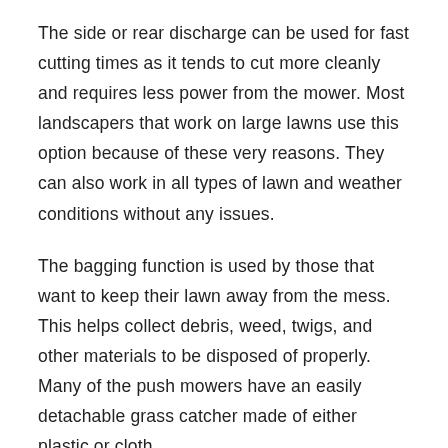The side or rear discharge can be used for fast cutting times as it tends to cut more cleanly and requires less power from the mower. Most landscapers that work on large lawns use this option because of these very reasons. They can also work in all types of lawn and weather conditions without any issues.
The bagging function is used by those that want to keep their lawn away from the mess. This helps collect debris, weed, twigs, and other materials to be disposed of properly. Many of the push mowers have an easily detachable grass catcher made of either plastic or cloth.
So ensure that your mower has at least two cutting options to avail of their associated benefits. Many mowers in the market feature a 3-in-1 functional